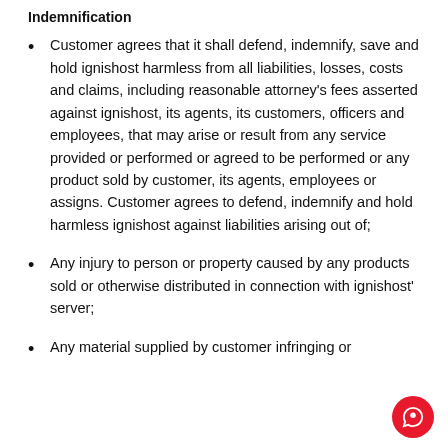Indemnification
Customer agrees that it shall defend, indemnify, save and hold ignishost harmless from all liabilities, losses, costs and claims, including reasonable attorney's fees asserted against ignishost, its agents, its customers, officers and employees, that may arise or result from any service provided or performed or agreed to be performed or any product sold by customer, its agents, employees or assigns. Customer agrees to defend, indemnify and hold harmless ignishost against liabilities arising out of;
Any injury to person or property caused by any products sold or otherwise distributed in connection with ignishost' server;
Any material supplied by customer infringing or